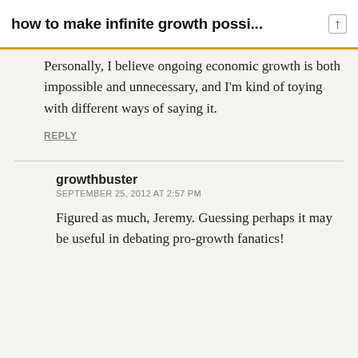how to make infinite growth possi...
Personally, I believe ongoing economic growth is both impossible and unnecessary, and I'm kind of toying with different ways of saying it.
REPLY
growthbuster
SEPTEMBER 25, 2012 AT 2:57 PM
Figured as much, Jeremy. Guessing perhaps it may be useful in debating pro-growth fanatics!